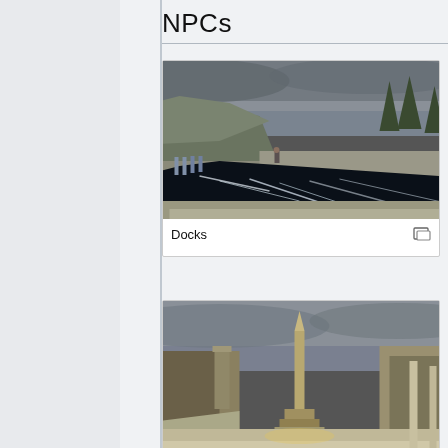NPCs
[Figure (photo): Game screenshot showing a dock area with dark water, stone walls, and trees on a hillside under overcast sky]
Docks
[Figure (photo): Game screenshot showing an outdoor plaza or courtyard area with a tall obelisk/monument in the center, stone architecture, and overcast sky]